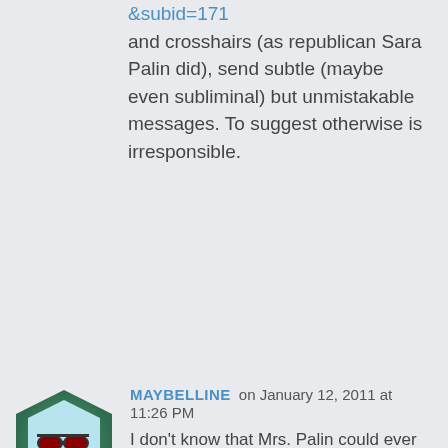&subid=171 and crosshairs (as republican Sara Palin did), send subtle (maybe even subliminal) but unmistakable messages. To suggest otherwise is irresponsible.
[Figure (illustration): Avatar icon: a hexagonal face with sunglasses and a bandage on its mouth, on a green-to-teal gradient background]
MAYBELLINE on January 12, 2011 at 11:26 PM
I don't know that Mrs. Palin could ever say anything to please those that despise her.

Would you consider reading the speech she gave and imagine someone you